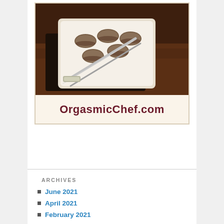[Figure (photo): Logo image for OrgasmicChef.com showing chocolate macarons on a white plate with a dark platter on a wooden surface, with the website name displayed below]
ARCHIVES
June 2021
April 2021
February 2021
January 2021
December 2020